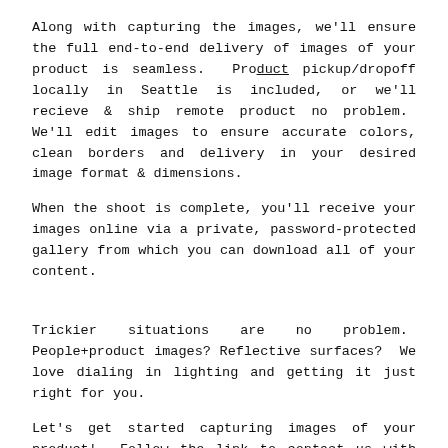Along with capturing the images, we'll ensure the full end-to-end delivery of images of your product is seamless. Product pickup/dropoff locally in Seattle is included, or we'll recieve & ship remote product no problem. We'll edit images to ensure accurate colors, clean borders and delivery in your desired image format & dimensions.
When the shoot is complete, you'll receive your images online via a private, password-protected gallery from which you can download all of your content.
Trickier situations are no problem. People+product images? Reflective surfaces? We love dialing in lighting and getting it just right for you.
Let's get started capturing images of your product! Follow the link to contact us with what you'd like captured.